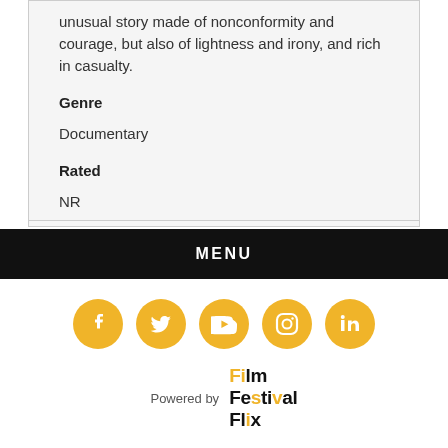unusual story made of nonconformity and courage, but also of lightness and irony, and rich in casualty.
Genre
Documentary
Rated
NR
MENU
[Figure (other): Row of 5 golden social media icons: Facebook, Twitter, YouTube, Instagram, LinkedIn]
Powered by Film Festival Flix